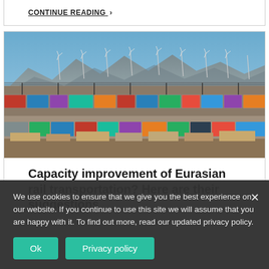CONTINUE READING ›
[Figure (photo): A train yard with colorful shipping containers stacked on freight cars, industrial infrastructure and overhead power lines, with wind turbines and mountains in the background under a blue sky.]
Capacity improvement of Eurasian rail transportation? Here are their suggestions
We use cookies to ensure that we give you the best experience on our website. If you continue to use this site we will assume that you are happy with it. To find out more, read our updated privacy policy.